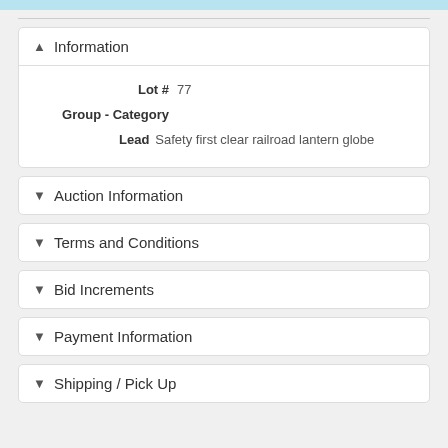Information
Lot # 77
Group - Category
Lead Safety first clear railroad lantern globe
Auction Information
Terms and Conditions
Bid Increments
Payment Information
Shipping / Pick Up